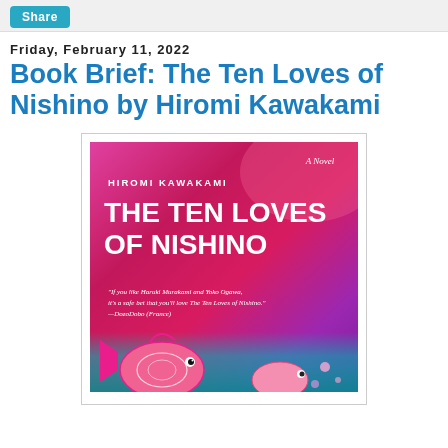Share
Friday, February 11, 2022
Book Brief: The Ten Loves of Nishino by Hiromi Kawakami
[Figure (illustration): Book cover of 'The Ten Loves of Nishino' by Hiromi Kawakami. Hot pink/magenta background with white text. Shows author name HIROMI KAWAKAMI at top, large title THE TEN LOVES OF NISHINO in bold white. Subtitle 'A Novel' in italic top right. Quote: 'If you like Haruki Murakami and Yoko Ogawa, it's a safe bet that you'll love The Ten Loves of Nishino.' —DozoDobo (France). Bottom shows decorative pink fish toys on teal/green background.]